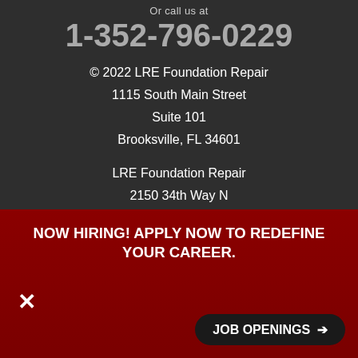Or call us at
1-352-796-0229
© 2022 LRE Foundation Repair
1115 South Main Street
Suite 101
Brooksville, FL 34601
LRE Foundation Repair
2150 34th Way N
Largo, FL 33771
Contractor ID: CRC1256398
[Figure (screenshot): Chat popup with female avatar and text 'Hi there, have a question? Text us here.' with a close button]
NOW HIRING! APPLY NOW TO REDEFINE YOUR CAREER.
JOB OPENINGS